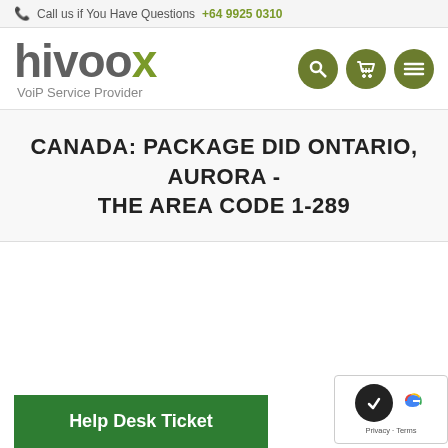Call us if You Have Questions +64 9925 0310
[Figure (logo): Hivoox VoiP Service Provider logo with green and grey styling]
CANADA: PACKAGE DID ONTARIO, AURORA - THE AREA CODE 1-289
Help Desk Ticket